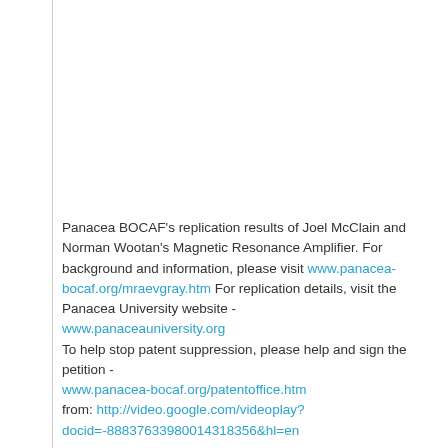Panacea BOCAF's replication results of Joel McClain and Norman Wootan's Magnetic Resonance Amplifier. For background and information, please visit www.panacea-bocaf.org/mraevgray.htm For replication details, visit the Panacea University website - www.panaceauniversity.org
To help stop patent suppression, please help and sign the petition - www.panacea-bocaf.org/patentoffice.htm
from: http://video.google.com/videoplay?docid=-88837633980014318356&hl=en
» Login to post comments